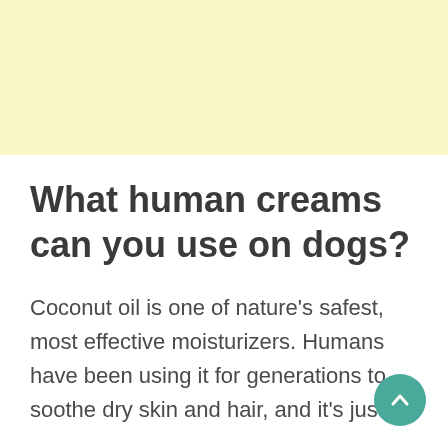[Figure (other): Yellow/cream colored banner area at top of page]
What human creams can you use on dogs?
Coconut oil is one of nature’s safest, most effective moisturizers. Humans have been using it for generations to soothe dry skin and hair, and it’s just as